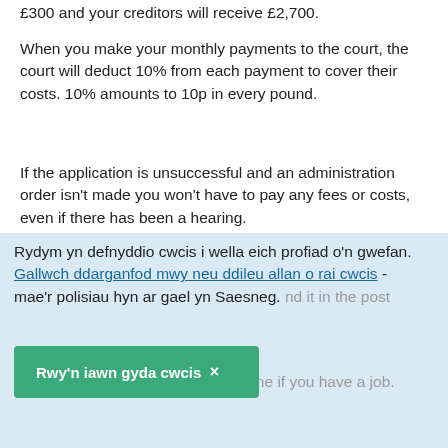£300 and your creditors will receive £2,700.
When you make your monthly payments to the court, the court will deduct 10% from each payment to cover their costs. 10% amounts to 10p in every pound.
If the application is unsuccessful and an administration order isn't made you won't have to pay any fees or costs, even if there has been a hearing.
How and when do you have to pay?
Once the administration order is set up, you'll make
Rydym yn defnyddio cwcis i wella eich profiad o'n gwefan. Gallwch ddarganfod mwy neu ddileu allan o rai cwcis - mae'r polisiau hyn ar gael yn Saesneg.
Rwy'n iawn gyda cwcis ×